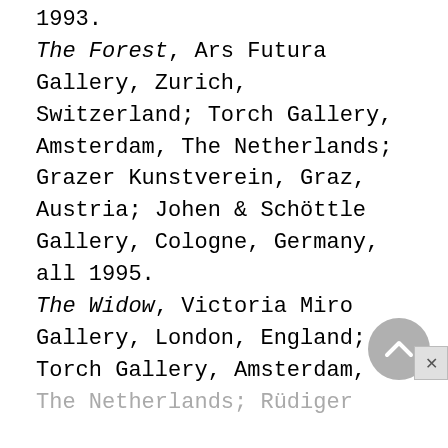1993. The Forest, Ars Futura Gallery, Zurich, Switzerland; Torch Gallery, Amsterdam, The Netherlands; Grazer Kunstverein, Graz, Austria; Johen & Schöttle Gallery, Cologne, Germany, all 1995. The Widow, Victoria Miro Gallery, London, England; Torch Gallery, Amsterdam, The Netherlands; Rüdiger